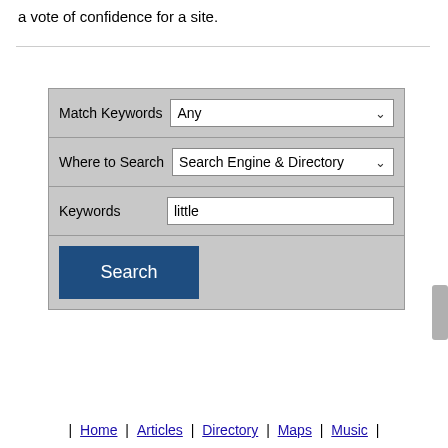a vote of confidence for a site.
[Figure (screenshot): A search form with fields: Match Keywords (dropdown: Any), Where to Search (dropdown: Search Engine & Directory), Keywords (text input: little), and a Search button.]
| Home | Articles | Directory | Maps | Music |